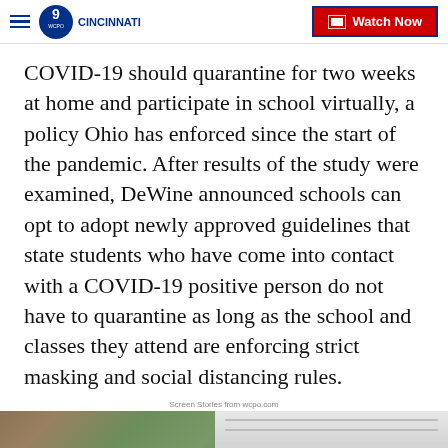WCPO 9 CINCINNATI — Watch Now
COVID-19 should quarantine for two weeks at home and participate in school virtually, a policy Ohio has enforced since the start of the pandemic. After results of the study were examined, DeWine announced schools can opt to adopt newly approved guidelines that state students who have come into contact with a COVID-19 positive person do not have to quarantine as long as the school and classes they attend are enforcing strict masking and social distancing rules.
Screen Stories from wcpo.com
[Figure (photo): Video thumbnail image showing two panels: left panel appears to be a store or classroom interior with colorful shelving, right panel shows an interior ceiling with lighting panels. A white label 'Rebound' is overlaid at bottom left.]